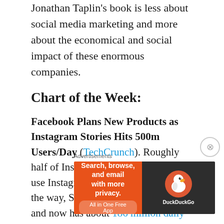Jonathan Taplin's book is less about social media marketing and more about the economical and social impact of these enormous companies.
Chart of the Week:
Facebook Plans New Products as Instagram Stories Hits 500m Users/Day (TechCrunch). Roughly half of Instagram's 1 billion users now use Instagram Stories every day. By the way, Snapchat is on the decline and now has about 186 million daily active users
Advertisements
[Figure (infographic): DuckDuckGo advertisement banner: orange background with text 'Search, browse, and email with more privacy. All in One Free App' and DuckDuckGo logo on dark right panel]